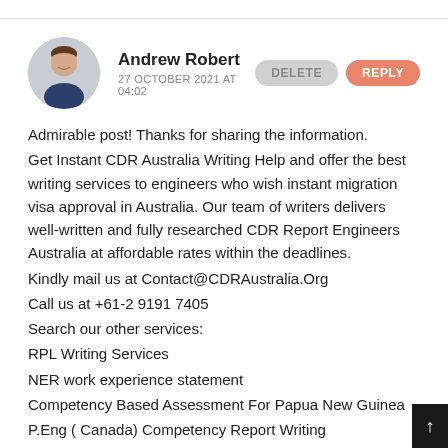Andrew Robert
27 OCTOBER 2021 AT 04:02
Admirable post! Thanks for sharing the information.
Get Instant CDR Australia Writing Help and offer the best writing services to engineers who wish instant migration visa approval in Australia. Our team of writers delivers well-written and fully researched CDR Report Engineers Australia at affordable rates within the deadlines.
Kindly mail us at Contact@CDRAustralia.Org
Call us at +61-2 9191 7405
Search our other services:
RPL Writing Services
NER work experience statement
Competency Based Assessment For Papua New Guinea
P.Eng ( Canada) Competency Report Writing